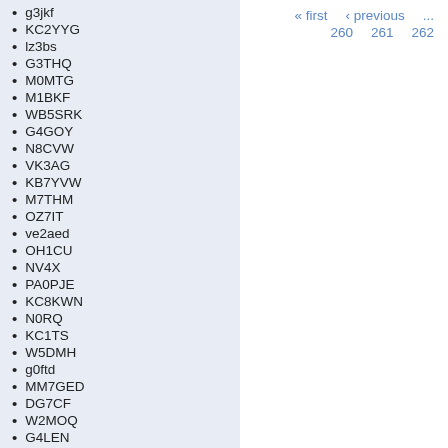g3jkf
KC2YYG
lz3bs
G3THQ
M0MTG
M1BKF
WB5SRK
G4GOY
N8CVW
VK3AG
KB7YVW
M7THM
OZ7IT
ve2aed
OH1CU
NV4X
PA0PJE
KC8KWN
N0RQ
KC1TS
W5DMH
g0ftd
MM7GED
DG7CF
W2MOQ
G4LEN
« first  ‹ previous  ...  260  261  262